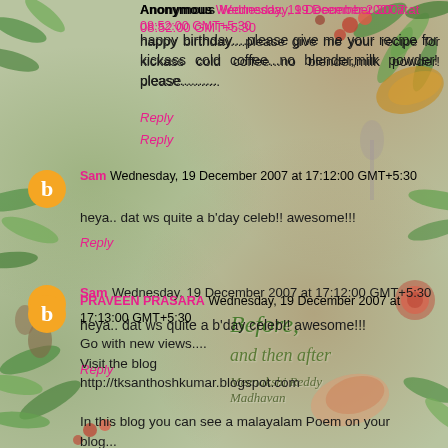[Figure (illustration): Floral and botanical background illustration with leaves, berries, flowers, and food items. Book cover 'Before, and then after' by Meenakshi Reddy Madhavan visible in lower right.]
Anonymous Wednesday, 19 December 2007 at 08:52:00 GMT+5:30
happy birthday....please give me your recipe for kickass cold coffee...no blender,milk powder! please..........
Reply
Sam Wednesday, 19 December 2007 at 17:12:00 GMT+5:30
heya.. dat ws quite a b'day celeb!! awesome!!!
Reply
PRAVEEN PRASARA Wednesday, 19 December 2007 at 17:13:00 GMT+5:30
Go with new views....
Visit the blog
http://tksanthoshkumar.blogspot.com

In this blog you can see a malayalam Poem on your blog...